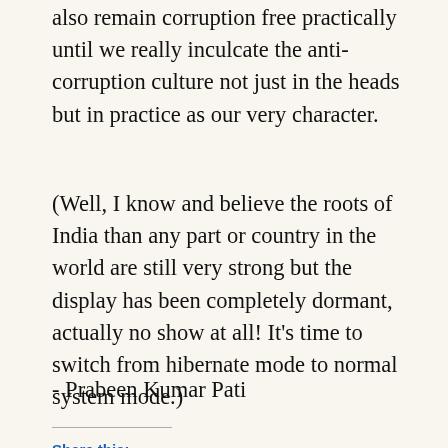also remain corruption free practically until we really inculcate the anti-corruption culture not just in the heads but in practice as our very character.
(Well, I know and believe the roots of India than any part or country in the world are still very strong but the display has been completely dormant, actually no show at all! It’s time to switch from hibernate mode to normal system mode.)
- Prabeen Kumar Pati
Share this:
Twitter  Facebook  WhatsApp  Reddit  Email  LinkedIn  Pinterest  Skype  More